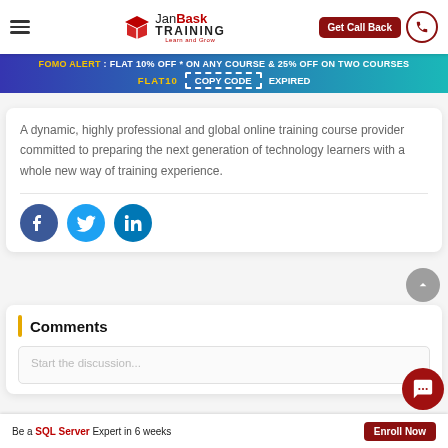JanBask Training — Get Call Back
FOMO ALERT : FLAT 10% OFF * ON ANY COURSE & 25% OFF ON TWO COURSES FLAT10 COPY CODE EXPIRED
A dynamic, highly professional and global online training course provider committed to preparing the next generation of technology learners with a whole new way of training experience.
[Figure (illustration): Three social media icons: Facebook, Twitter, LinkedIn]
Comments
Start the discussion...
Be a SQL Server Expert in 6 weeks  Enroll Now